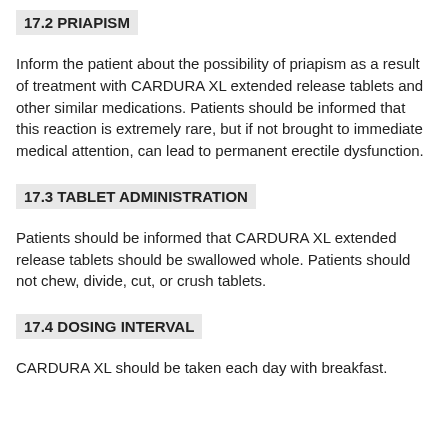17.2 PRIAPISM
Inform the patient about the possibility of priapism as a result of treatment with CARDURA XL extended release tablets and other similar medications. Patients should be informed that this reaction is extremely rare, but if not brought to immediate medical attention, can lead to permanent erectile dysfunction.
17.3 TABLET ADMINISTRATION
Patients should be informed that CARDURA XL extended release tablets should be swallowed whole. Patients should not chew, divide, cut, or crush tablets.
17.4 DOSING INTERVAL
CARDURA XL should be taken each day with breakfast.